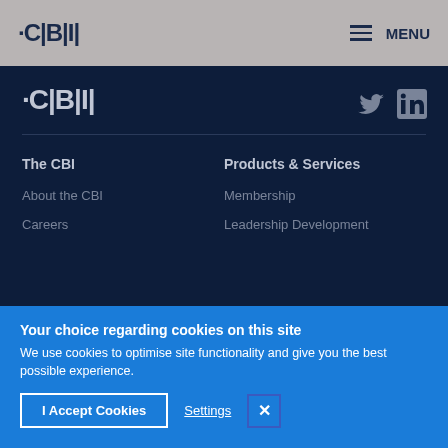CBI | MENU
[Figure (logo): CBI logo in navy section with social media icons (Twitter, LinkedIn)]
The CBI
About the CBI
Careers
Products & Services
Membership
Leadership Development
Your choice regarding cookies on this site
We use cookies to optimise site functionality and give you the best possible experience.
I Accept Cookies  Settings  ×